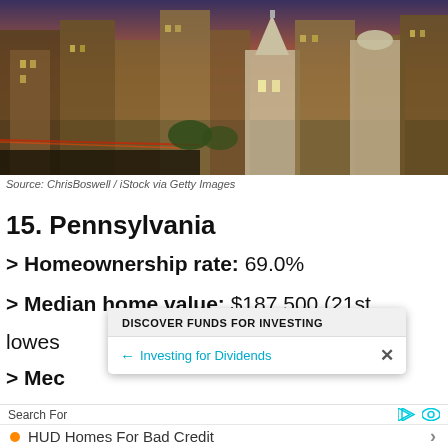[Figure (photo): Aerial view of a Pennsylvania city downtown with buildings, streets with car lights, and a church steeple visible]
Source: ChrisBoswell / iStock via Getty Images
15. Pennsylvania
> Homeownership rate: 69.0%
> Median home value: $187,500 (21st lowest
> Med
DISCOVER FUNDS FOR INVESTING
← Investing for Dividends  ✕
Search For
HUD Homes For Bad Credit
Top 10 Stocks To Buy Now